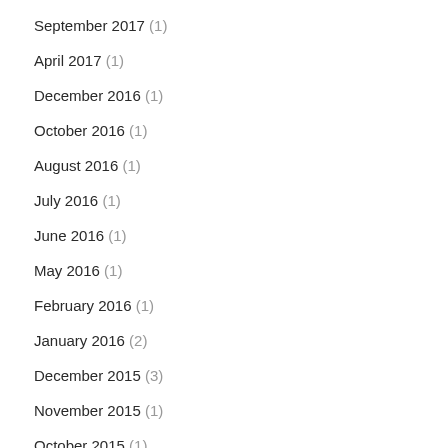September 2017 (1)
April 2017 (1)
December 2016 (1)
October 2016 (1)
August 2016 (1)
July 2016 (1)
June 2016 (1)
May 2016 (1)
February 2016 (1)
January 2016 (2)
December 2015 (3)
November 2015 (1)
October 2015 (?)